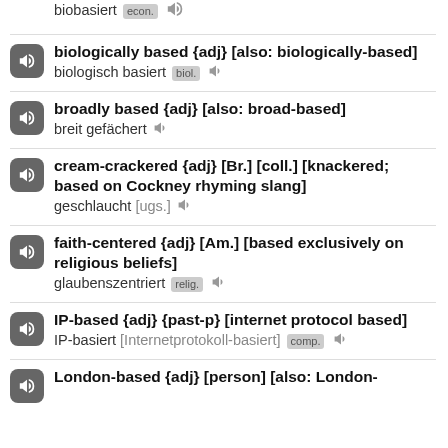biobasiert [econ.]  ♪
biologically based {adj} [also: biologically-based] / biologisch basiert [biol.] ♪
broadly based {adj} [also: broad-based] / breit gefächert ♪
cream-crackered {adj} [Br.] [coll.] [knackered; based on Cockney rhyming slang] / geschlaucht [ugs.] ♪
faith-centered {adj} [Am.] [based exclusively on religious beliefs] / glaubenszentriert [relig.] ♪
IP-based {adj} {past-p} [internet protocol based] / IP-basiert [Internetprotokoll-basiert] [comp.] ♪
London-based {adj} [person] [also: London-...